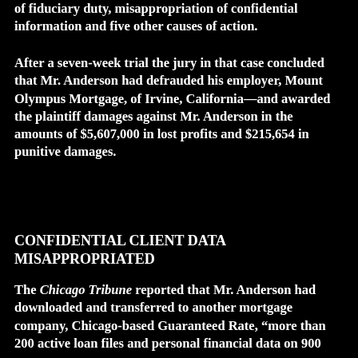of fiduciary duty, misappropriation of confidential information and five other causes of action.
After a seven-week trial the jury in that case concluded that Mr. Anderson had defrauded his employer, Mount Olympus Mortgage, of Irvine, California—and awarded the plaintiff damages against Mr. Anderson in the amounts of $5,607,000 in lost profits and $215,654 in punitive damages.
CONFIDENTIAL CLIENT DATA MISAPPROPRIATED
The Chicago Tribune reported that Mr. Anderson had downloaded and transferred to another mortgage company, Chicago-based Guaranteed Rate, "more than 200 active loan files and personal financial data on 900